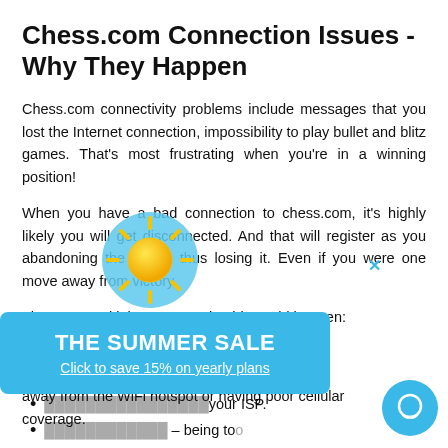Chess.com Connection Issues - Why They Happen
Chess.com connectivity problems include messages that you lost the Internet connection, impossibility to play bullet and blitz games. That's most frustrating when you're in a winning position!
When you have a bad connection to chess.com, it's highly likely you will get disconnected. And that will register as you abandoning the game, thus losing it. Even if you were one move away from victory.
There are multiple reasons why this could happen:
Servers are overloaded.
[partially obscured] ...ed by chess.com.
[partially obscured] ...your ISP.
[partially obscured] – being too far away from the WiFi hotspot or having poor cellular coverage.
[Figure (infographic): Summer sale promotional overlay banner with sun icon, teal/blue background, text THE SUMMER SALE and Click to save 15% on yearly plans]
[Figure (illustration): Teal circular chat button icon in bottom-right corner]